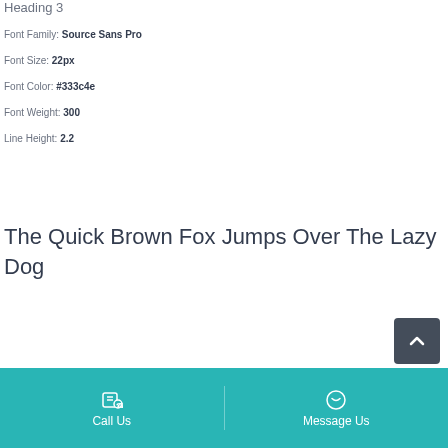Heading 3
Font Family: Source Sans Pro
Font Size: 22px
Font Color: #333c4e
Font Weight: 300
Line Height: 2.2
The Quick Brown Fox Jumps Over The Lazy Dog
Call Us  Message Us